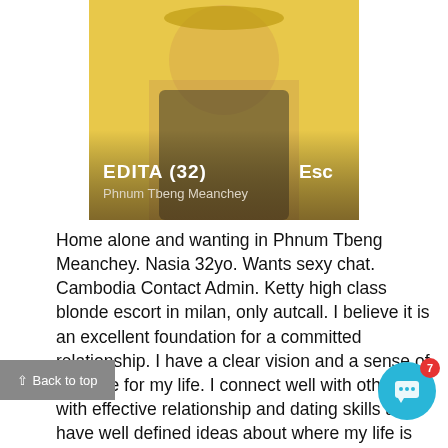[Figure (photo): Photo of a woman named Edita, age 32, with text overlay showing name and location 'Phnum Tbeng Meanchey'. Yellow/golden background.]
Home alone and wanting in Phnum Tbeng Meanchey. Nasia 32yo. Wants sexy chat. Cambodia Contact Admin. Ketty high class blonde escort in milan, only autcall. I believe it is an excellent foundation for a committed relationship. I have a clear vision and a sense of purpose for my life. I connect well with others with effective relationship and dating skills and I have well defined ideas about where my life is headed.. They are also of different age group starting from the teenage to mature point, which means that the girl is over